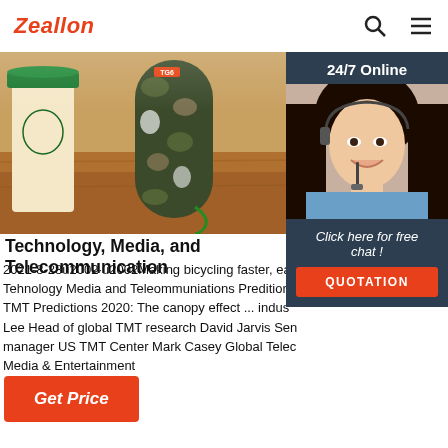Zeallon
[Figure (photo): Hero image showing a camouflage Bluetooth speaker next to a Starbucks coffee cup on a wooden surface]
[Figure (photo): 24/7 Online customer service panel with a woman wearing a headset and a QUOTATION button]
Technology, Media, and Telecommunication
2021-8-28u2002·u2002Making bicycling faster, ea Tehnology Media and Teleommuniations Predition TMT Predictions 2020: The canopy effect ... indus Lee Head of global TMT research David Jarvis Sen manager US TMT Center Mark Casey Global Telec Media & Entertainment
Get Price